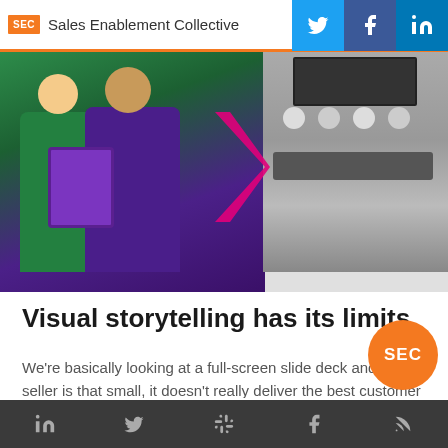SEC Sales Enablement Collective [Twitter] [Facebook] [LinkedIn]
[Figure (photo): Hero image showing two professionals (a woman in green and a man in purple) looking at a tablet on the left, a pink chevron/arrow graphic in the middle, and a meeting room scene on the right. Background is light grey.]
Visual storytelling has its limits
We're basically looking at a full-screen slide deck and the seller is that small, it doesn't really deliver the best customer experience that your customers expect. I think there's a lot of room for improvement and we believe that sales enablement technology have a very important role to play there.
[LinkedIn] [Twitter] [Slack] [Facebook] [RSS]